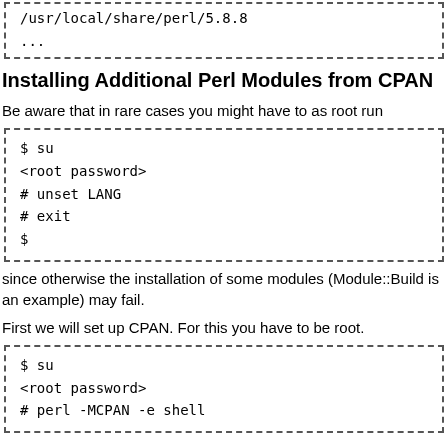/usr/local/share/perl/5.8.8
...
Installing Additional Perl Modules from CPAN
Be aware that in rare cases you might have to as root run
$ su
<root password>
# unset LANG
# exit
$
since otherwise the installation of some modules (Module::Build is an example) may fail.
First we will set up CPAN. For this you have to be root.
$ su
<root password>
# perl -MCPAN -e shell